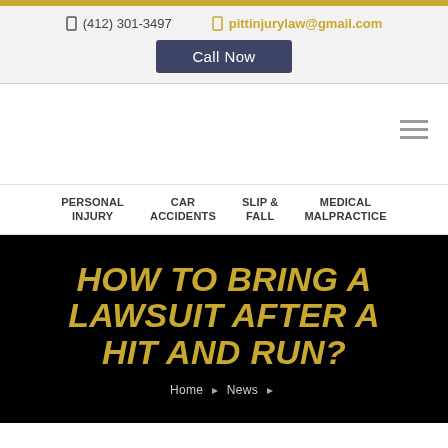(412) 301-3497   pittinjurylaw@gmail.com   Call Now
[Figure (screenshot): Hamburger menu icon (three horizontal lines) in the top-right navigation area]
PERSONAL INJURY   CAR ACCIDENTS   SLIP & FALL   MEDICAL MALPRACTICE
HOW TO BRING A LAWSUIT AFTER A HIT AND RUN?
Home   News